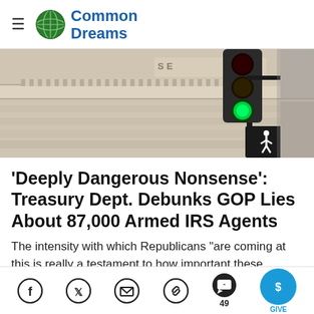Common Dreams
[Figure (photo): Exterior of a government building with stone columns and molding, with a traffic light showing green and a pedestrian walk signal, both mounted on a dark pole.]
'Deeply Dangerous Nonsense': Treasury Dept. Debunks GOP Lies About 87,000 Armed IRS Agents
The intensity with which Republicans "are coming at this is really a testament to how important these
Share icons: Facebook, Twitter, Email, Link, Comments (49), Give